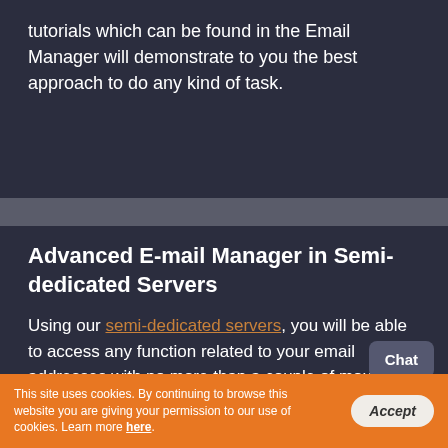tutorials which can be found in the Email Manager will demonstrate to you the best approach to do any kind of task.
Advanced E-mail Manager in Semi-dedicated Servers
Using our semi-dedicated servers, you will be able to access any function related to your email addresses with no more than a couple of mouse-clicks. The Hepsia Control Panel, that is provided with our hosting accounts, will enable you to access a feature-rich Email Manager tool where you're able to see and take care of all your mailboxes - access the webmail, download auto-
This site uses cookies. By continuing to browse this website you are giving your permission to our use of cookies. Learn more here.